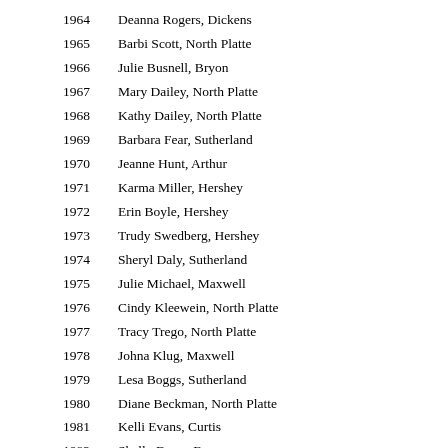1964    Deanna Rogers, Dickens
1965    Barbi Scott, North Platte
1966    Julie Busnell, Bryon
1967    Mary Dailey, North Platte
1968    Kathy Dailey, North Platte
1969    Barbara Fear, Sutherland
1970    Jeanne Hunt, Arthur
1971    Karma Miller, Hershey
1972    Erin Boyle, Hershey
1973    Trudy Swedberg, Hershey
1974    Sheryl Daly, Sutherland
1975    Julie Michael, Maxwell
1976    Cindy Kleewein, North Platte
1977    Tracy Trego, North Platte
1978    Johna Klug, Maxwell
1979    Lesa Boggs, Sutherland
1980    Diane Beckman, North Platte
1981    Kelli Evans, Curtis
1982    Shelly Derra, Farnam